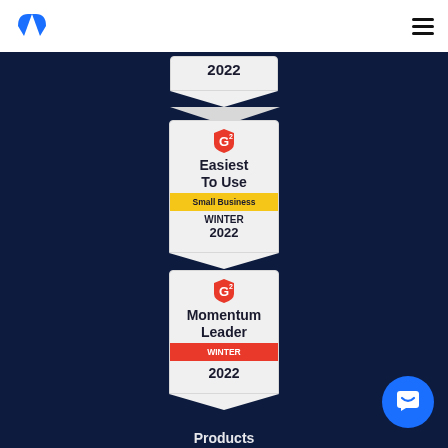Mailmodo logo and navigation menu
[Figure (logo): Mailmodo logo - blue leaf/flame icon]
[Figure (illustration): G2 Easiest To Use Small Business Winter 2022 badge]
[Figure (illustration): G2 Momentum Leader Winter 2022 badge]
Products